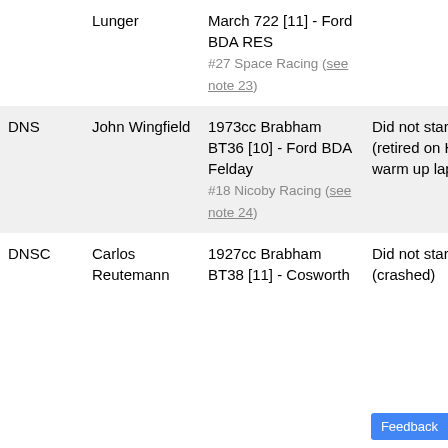| Status | Driver | Car | Notes |
| --- | --- | --- | --- |
|  | Lunger | March 722 [11] - Ford BDA RES
#27 Space Racing (see note 23) |  |
| DNS | John Wingfield | 1973cc Brabham BT36 [10] - Ford BDA Felday
#18 Nicoby Racing (see note 24) | Did not start (retired on Heat 2 warm up lap) |
| DNSC | Carlos Reutemann | 1927cc Brabham BT38 [11] - Cosworth | Did not start (crashed) |